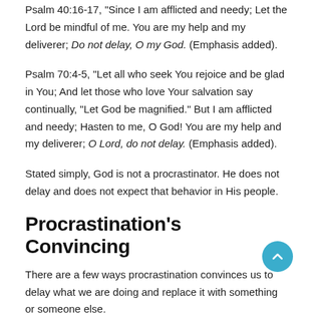Psalm 40:16-17, "Since I am afflicted and needy; Let the Lord be mindful of me. You are my help and my deliverer; Do not delay, O my God. (Emphasis added).
Psalm 70:4-5, "Let all who seek You rejoice and be glad in You; And let those who love Your salvation say continually, “Let God be magnified.” But I am afflicted and needy; Hasten to me, O God! You are my help and my deliverer; O Lord, do not delay. (Emphasis added).
Stated simply, God is not a procrastinator. He does not delay and does not expect that behavior in His people.
Procrastination’s Convincing
There are a few ways procrastination convinces us to delay what we are doing and replace it with something or someone else.
1. Convincing Us There Is More Time